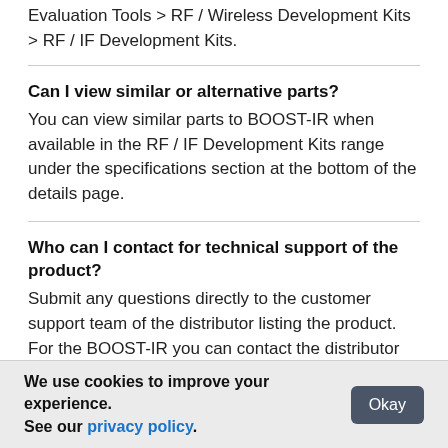Evaluation Tools > RF / Wireless Development Kits > RF / IF Development Kits.
Can I view similar or alternative parts?
You can view similar parts to BOOST-IR when available in the RF / IF Development Kits range under the specifications section at the bottom of the details page.
Who can I contact for technical support of the product?
Submit any questions directly to the customer support team of the distributor listing the product. For the BOOST-IR you can contact the distributor directly for product support, shipping queries etc.
We use cookies to improve your experience. See our privacy policy.